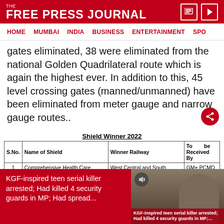THE FREE PRESS JOURNAL
HOME  MUMBAI  INDIA  BUSINESS  ENTERTAINMENT  SPO
gates eliminated, 38 were eliminated from the national Golden Quadrilateral route which is again the highest ever. In addition to this, 45 level crossing gates (manned/unmanned) have been eliminated from meter gauge and narrow gauge routes..
Shield Winner 2022
| S.No. | Name of Shield | Winner Railway | To be Received By |
| --- | --- | --- | --- |
| 1 | Comprehensive Health Care Shield. | West Central and South Central Railway (Jointly | GM+ PCMD (WCR+SCR) |
KGF-inspired teen serial killer arrested; Had killed 4 security guards in MP; Had spread...
[Figure (photo): Photo of person associated with KGF-inspired teen serial killer news story, with red caption overlay reading: KGF-inspired teen serial killer arrested; Had killed 4 security guards in MP;]